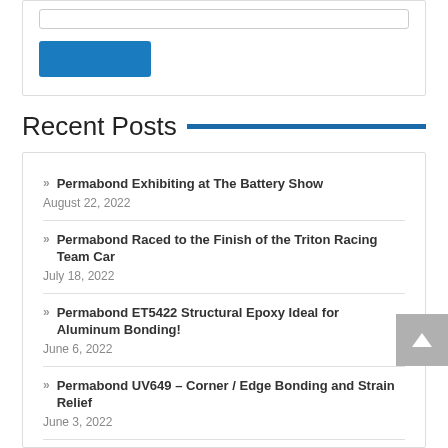[Figure (screenshot): A form area with an input text box and a blue submit button below it, inside a bordered container.]
Recent Posts
Permabond Exhibiting at The Battery Show
August 22, 2022
Permabond Raced to the Finish of the Triton Racing Team Car
July 18, 2022
Permabond ET5422 Structural Epoxy Ideal for Aluminum Bonding!
June 6, 2022
Permabond UV649 – Corner / Edge Bonding and Strain Relief
June 3, 2022